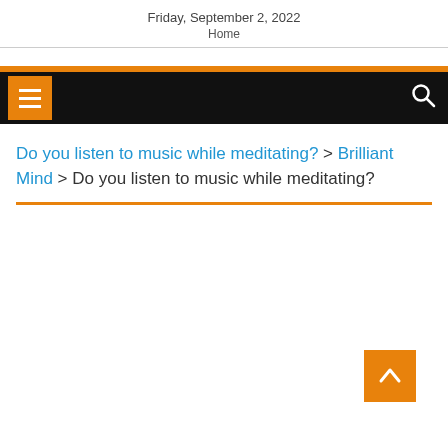Friday, September 2, 2022
Home
Do you listen to music while meditating? > Brilliant Mind > Do you listen to music while meditating?